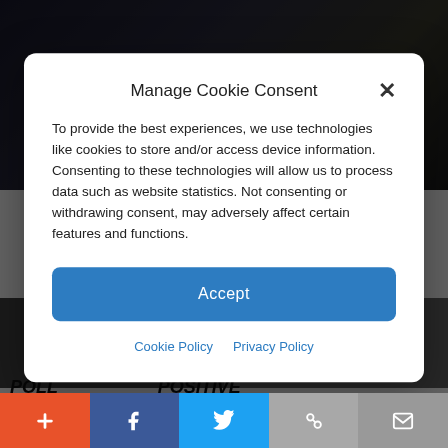[Figure (screenshot): Background website screenshot showing a dark header image with gold 'LN' text and a partial view of website content with images below]
Manage Cookie Consent
To provide the best experiences, we use technologies like cookies to store and/or access device information. Consenting to these technologies will allow us to process data such as website statistics. Not consenting or withdrawing consent, may adversely affect certain features and functions.
Accept
Cookie Policy  Privacy Policy